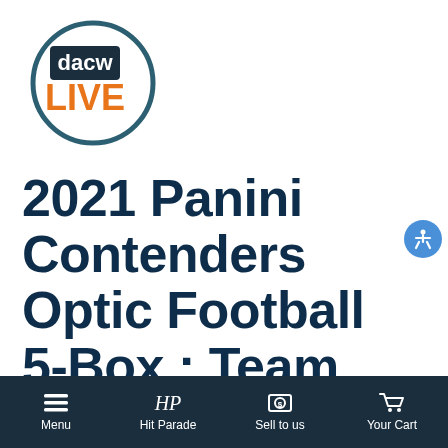[Figure (logo): DACW Live logo — circle with dark teal border, 'dacw' in white on dark background, 'LIVE' in large orange bold text below]
2021 Panini Contenders Optic Football 5-Box : Team Break #1 <Las Vegas
Menu | Hit Parade | Sell to us | Your Cart